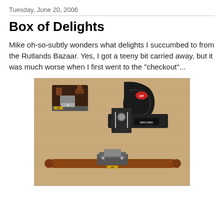Tuesday, June 20, 2006
Box of Delights
Mike oh-so-subtly wonders what delights I succumbed to from the Rutlands Bazaar. Yes, I got a teeny bit carried away, but it was much worse when I first went to the "checkout"...
[Figure (photo): Photograph of three woodworking hand tools laid out on a light wooden surface: a small block plane (top left), a router/combination plane with a pistol grip handle (center-right), and a scratch stock or spokeshave type tool with a long wooden handle and metal blade holder (bottom center).]